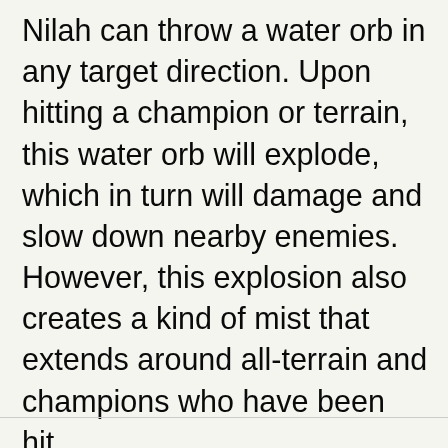Nilah can throw a water orb in any target direction. Upon hitting a champion or terrain, this water orb will explode, which in turn will damage and slow down nearby enemies. However, this explosion also creates a kind of mist that extends around all-terrain and champions who have been hit.